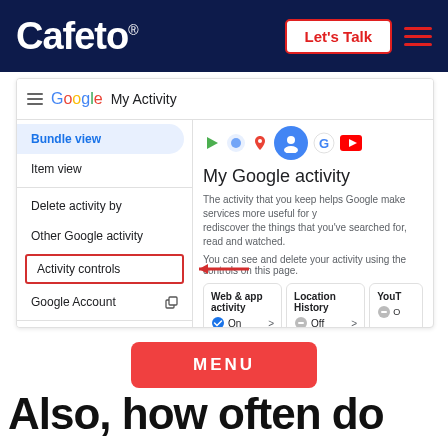Cafeto® — Let's Talk (navigation bar)
[Figure (screenshot): Screenshot of Google My Activity page showing the left sidebar with 'Activity controls' highlighted in a red box with a red arrow pointing to it, and the right panel showing 'My Google activity' heading with Web & app activity On, Location History Off controls.]
MENU
Also, how often do you